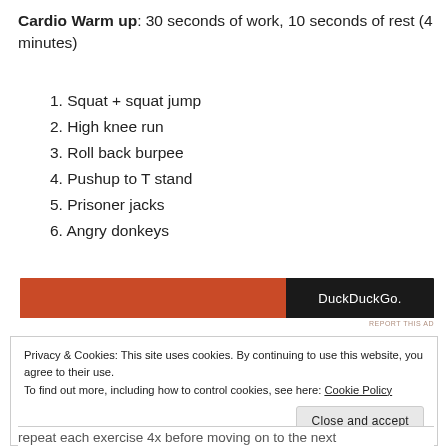Cardio Warm up: 30 seconds of work, 10 seconds of rest (4 minutes)
1. Squat + squat jump
2. High knee run
3. Roll back burpee
4. Pushup to T stand
5. Prisoner jacks
6. Angry donkeys
[Figure (other): DuckDuckGo advertisement banner with orange and black colors]
Privacy & Cookies: This site uses cookies. By continuing to use this website, you agree to their use.
To find out more, including how to control cookies, see here: Cookie Policy
repeat each exercise 4x before moving on to the next